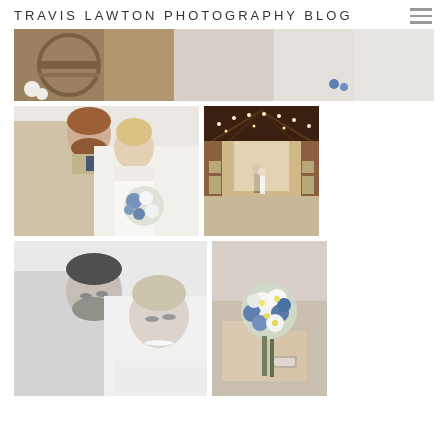TRAVIS LAWTON PHOTOGRAPHY BLOG
[Figure (photo): Cropped banner photo showing wooden wine barrel and white floral decoration on left, bride in white dress on right, barn wedding venue setting]
[Figure (photo): Wedding portrait of groom in tan suit and bride in white lace dress holding blue and white bouquet, looking at each other closely]
[Figure (photo): Barn interior with string lights showing bride and groom standing at the far end with rows of white chairs on either side]
[Figure (photo): Black and white close-up photo of bride and groom about to kiss, romantic portrait]
[Figure (photo): Close-up of bride holding blue and white flower bouquet, wearing white dress]